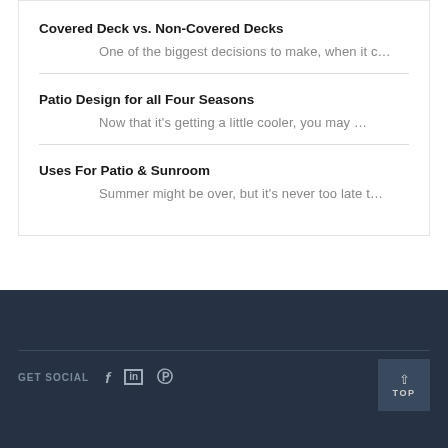Covered Deck vs. Non-Covered Decks
One of the biggest decisions to make, when it c…
Patio Design for all Four Seasons
Now that it's getting a little cooler, you may …
Uses For Patio & Sunroom
Summer might be over, but it's never too late t…
GET SOCIAL  f  in  ⌂  TOP